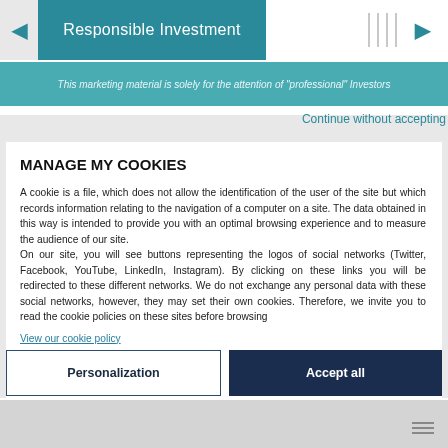Responsible Investment
This marketing material is solely for the attention of "professional" Investors
Continue without accepting
MANAGE MY COOKIES
A cookie is a file, which does not allow the identification of the user of the site but which records information relating to the navigation of a computer on a site. The data obtained in this way is intended to provide you with an optimal browsing experience and to measure the audience of our site.
On our site, you will see buttons representing the logos of social networks (Twitter, Facebook, YouTube, LinkedIn, Instagram). By clicking on these links you will be redirected to these different networks. We do not exchange any personal data with these social networks, however, they may set their own cookies. Therefore, we invite you to read the cookie policies on these sites before browsing
View our cookie policy
Personalization
Accept all